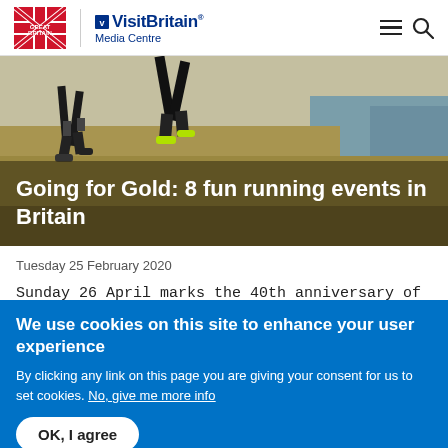VisitBritain Media Centre
[Figure (photo): Two runners on a coastal trail with dry grass and sea cliffs in the background]
Going for Gold: 8 fun running events in Britain
Tuesday 25 February 2020
Sunday 26 April marks the 40th anniversary of the London Marathon, an event that will shine a...
Read more >
We use cookies on this site to enhance your user experience
By clicking any link on this page you are giving your consent for us to set cookies. No, give me more info
OK, I agree